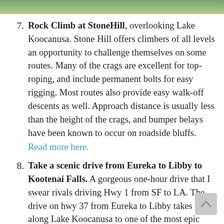[Figure (photo): Partial photo strip at top of page showing green foliage/trees]
7. Rock Climb at StoneHill, overlooking Lake Koocanusa. Stone Hill offers climbers of all levels an opportunity to challenge themselves on some routes. Many of the crags are excellent for top-roping, and include permanent bolts for easy rigging. Most routes also provide easy walk-off descents as well. Approach distance is usually less than the height of the crags, and bumper belays have been known to occur on roadside bluffs. Read more here.
8. Take a scenic drive from Eureka to Libby to Kootenai Falls. A gorgeous one-hour drive that I swear rivals driving Hwy 1 from SF to LA. The drive on hwy 37 from Eureka to Libby takes you along Lake Koocanusa to one of the most epic waterfalls outside of Niagara